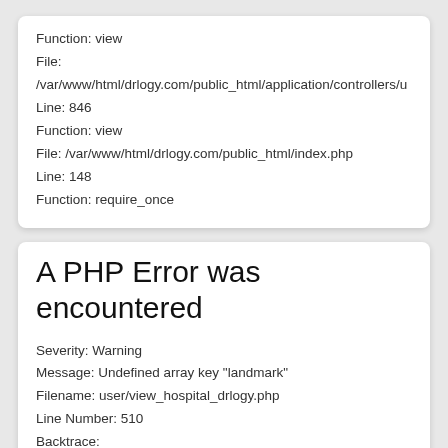Function: view
File:
/var/www/html/drlogy.com/public_html/application/controllers/u
Line: 846
Function: view
File: /var/www/html/drlogy.com/public_html/index.php
Line: 148
Function: require_once
A PHP Error was encountered
Severity: Warning
Message: Undefined array key "landmark"
Filename: user/view_hospital_drlogy.php
Line Number: 510
Backtrace:
File:
/var/www/html/drlogy.com/public_html/application/views/user/v
Line: 510
Function: _error_handler
File:
/var/www/html/drlogy.com/public_html/application/views/user/in